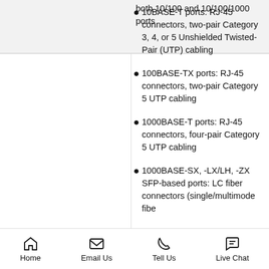both 10/100 and 10/100/1000 ports
10BASE-T ports: RJ-45 connectors, two-pair Category 3, 4, or 5 Unshielded Twisted-Pair (UTP) cabling
100BASE-TX ports: RJ-45 connectors, two-pair Category 5 UTP cabling
1000BASE-T ports: RJ-45 connectors, four-pair Category 5 UTP cabling
1000BASE-SX, -LX/LH, -ZX SFP-based ports: LC fiber connectors (single/multimode fibe
Connectors and cabling
Home  Email Us  Tell Us  Live Chat